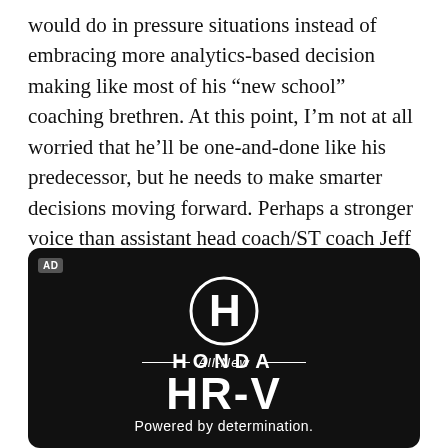would do in pressure situations instead of embracing more analytics-based decision making like most of his “new school” coaching brethren. At this point, I’m not at all worried that he’ll be one-and-done like his predecessor, but he needs to make smarter decisions moving forward. Perhaps a stronger voice than assistant head coach/ST coach Jeff Rodgers or DC Vance Joseph in his ear in 2020 would help.
[Figure (advertisement): Honda advertisement on black background showing the Honda H logo, HONDA wordmark, 'All-New' with decorative lines, 'HR-V' in large bold text, and 'Powered by determination.' tagline]